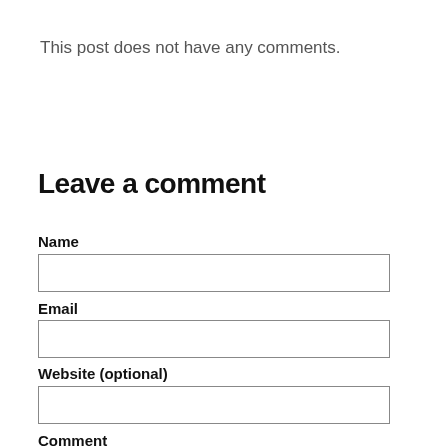This post does not have any comments.
Leave a comment
Name
Email
Website (optional)
Comment